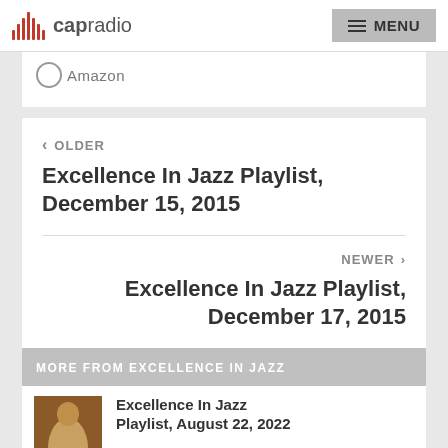capradio | MENU
Amazon
< OLDER
Excellence In Jazz Playlist, December 15, 2015
NEWER >
Excellence In Jazz Playlist, December 17, 2015
MORE FROM EXCELLENCE IN JAZZ
Excellence In Jazz Playlist, August 22, 2022